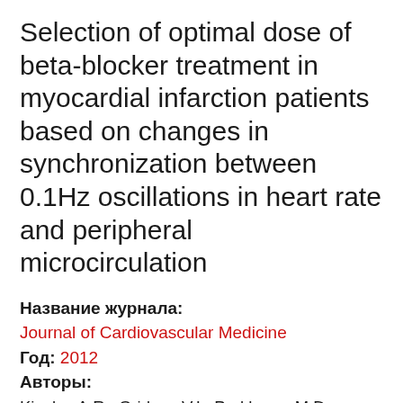Selection of optimal dose of beta-blocker treatment in myocardial infarction patients based on changes in synchronization between 0.1Hz oscillations in heart rate and peripheral microcirculation
Название журнала: Journal of Cardiovascular Medicine
Год: 2012
Авторы: Kiselev A.R., Gridnev V.I., Prokhorov M.D., Karavaev A.S., Posnenkova O.M., Ponomarenko V.I., Bezruchko B.P.